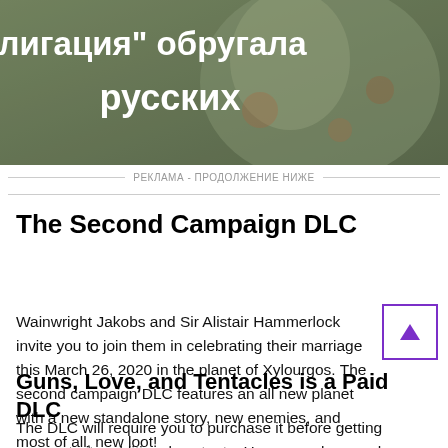[Figure (photo): Photo of a woman with patterned clothing, overlaid with white Cyrillic text reading 'Облигация" обругала русских']
РЕКЛАМА - ПРОДОЛЖЕНИЕ НИЖЕ
The Second Campaign DLC
Wainwright Jakobs and Sir Alistair Hammerlock invite you to join them in celebrating their marriage this March 26, 2020 in the planet of Xylourgos. The second campaign DLC features an all new planet with a new standalone story, new enemies, and most of all, new loot!
Guns, Love, and Tentacles is a Paid DLC
The DLC will require you to purchase it before getting access to its additional contents. However, players who